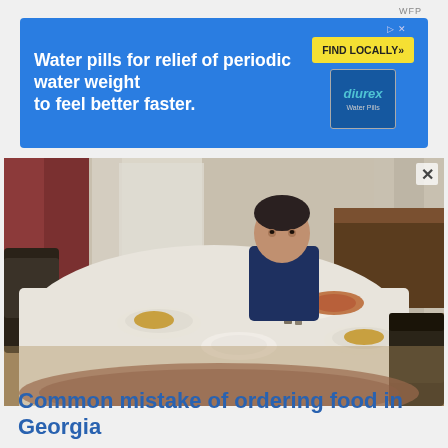[Figure (screenshot): Advertisement banner for Diurex water pills. Blue background with white bold text reading 'Water pills for relief of periodic water weight to feel better faster.' with a yellow 'FIND LOCALLY»' button and Diurex product box image on the right.]
[Figure (photo): A man in a dark blue t-shirt sits alone at a large dining table covered with a floral tablecloth, with multiple plates of food laid out in a home interior setting with chairs, a rug, wooden furniture and curtains in the background.]
Common mistake of ordering food in Georgia